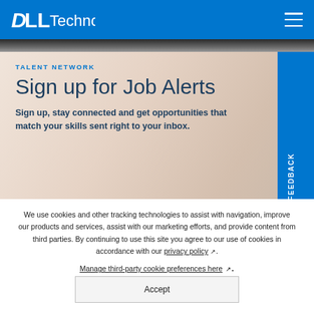Dell Technologies
[Figure (screenshot): Dell Technologies hero banner showing 'Talent Network - Sign up for Job Alerts' with a warm beige gradient background and a candidate feedback tab on the right side]
TALENT NETWORK
Sign up for Job Alerts
Sign up, stay connected and get opportunities that match your skills sent right to your inbox.
We use cookies and other tracking technologies to assist with navigation, improve our products and services, assist with our marketing efforts, and provide content from third parties. By continuing to use this site you agree to our use of cookies in accordance with our privacy policy. Manage third-party cookie preferences here.
Accept